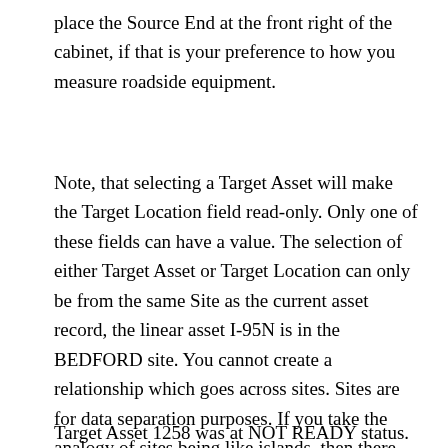place the Source End at the front right of the cabinet, if that is your preference to how you measure roadside equipment.
Note, that selecting a Target Asset will make the Target Location field read-only. Only one of these fields can have a value. The selection of either Target Asset or Target Location can only be from the same Site as the current asset record, the linear asset I-95N is in the BEDFORD site. You cannot create a relationship which goes across sites. Sites are for data separation purposes. If you take the analogy of sites being like islands, then there are no bridges or tunnels connecting these islands.
Target Asset 1258 was at NOT READY status. You